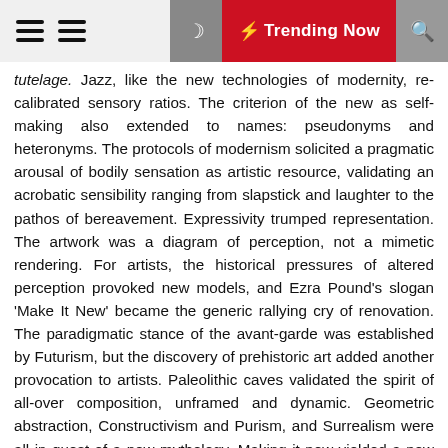Trending Now
tutelage. Jazz, like the new technologies of modernity, re-calibrated sensory ratios. The criterion of the new as self-making also extended to names: pseudonyms and heteronyms. The protocols of modernism solicited a pragmatic arousal of bodily sensation as artistic resource, validating an acrobatic sensibility ranging from slapstick and laughter to the pathos of bereavement. Expressivity trumped representation. The artwork was a diagram of perception, not a mimetic rendering. For artists, the historical pressures of altered perception provoked new models, and Ezra Pound's slogan 'Make It New' became the generic rallying cry of renovation. The paradigmatic stance of the avant-garde was established by Futurism, but the discovery of prehistoric art added another provocation to artists. Paleolithic caves validated the spirit of all-over composition, unframed and dynamic. Geometric abstraction, Constructivism and Purism, and Surrealism were all in quest of a new mythology. Making it new yielded a new pathos in the sensation of radical discrepancy between futurist striving and remotest antiquity. The Paleolithic cave and the USSR emitted comparable siren calls on behalf of the remote past and the desired future. As such, the present was suffused with the